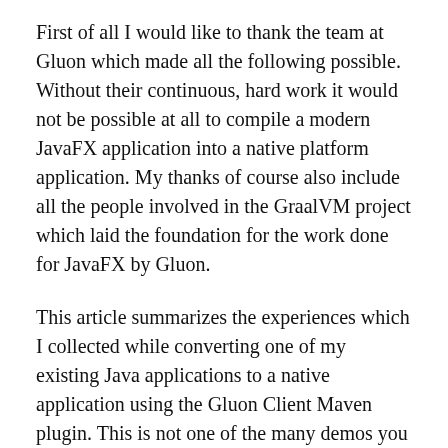First of all I would like to thank the team at Gluon which made all the following possible. Without their continuous, hard work it would not be possible at all to compile a modern JavaFX application into a native platform application. My thanks of course also include all the people involved in the GraalVM project which laid the foundation for the work done for JavaFX by Gluon.
This article summarizes the experiences which I collected while converting one of my existing Java applications to a native application using the Gluon Client Maven plugin. This is not one of the many demos you can find on the internet, but an application that is still relatively small and manageable but otherwise a real-world application with a lot of external dependencies and technical